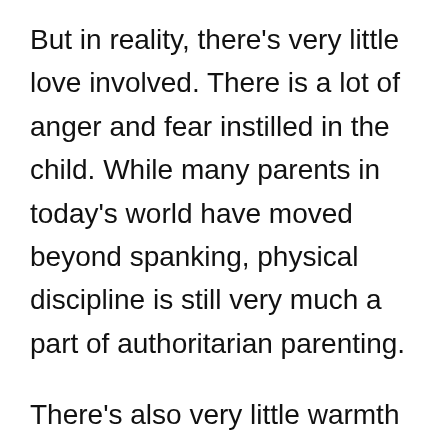But in reality, there's very little love involved. There is a lot of anger and fear instilled in the child. While many parents in today's world have moved beyond spanking, physical discipline is still very much a part of authoritarian parenting.
There's also very little warmth or nurturing.
The child isn't cuddled or consoled after a failure or disappointment. The child is often told to refer to the parents as “yes, ma'am” and “yes, sir”. There's no excitement between parent and child. There's only a child hoping and praying to be perfect to avoid another scolding.